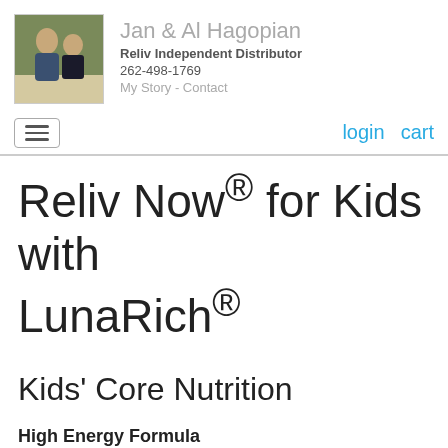[Figure (photo): Profile photo of Jan & Al Hagopian, a man and woman standing together]
Jan & Al Hagopian
Reliv Independent Distributor
262-498-1769
My Story - Contact
login  cart
Reliv Now® for Kids with LunaRich®
Kids' Core Nutrition
High Energy Formula